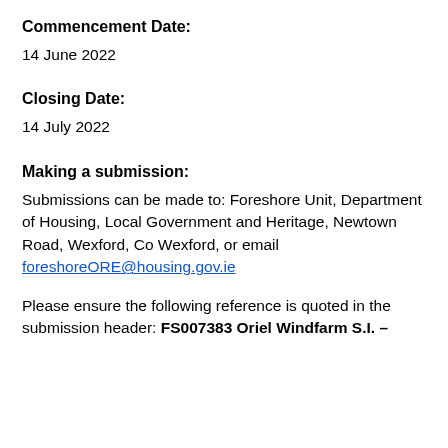Commencement Date:
14 June 2022
Closing Date:
14 July 2022
Making a submission:
Submissions can be made to: Foreshore Unit, Department of Housing, Local Government and Heritage, Newtown Road, Wexford, Co Wexford, or email foreshoreORE@housing.gov.ie
Please ensure the following reference is quoted in the submission header: FS007383 Oriel Windfarm S.I. –